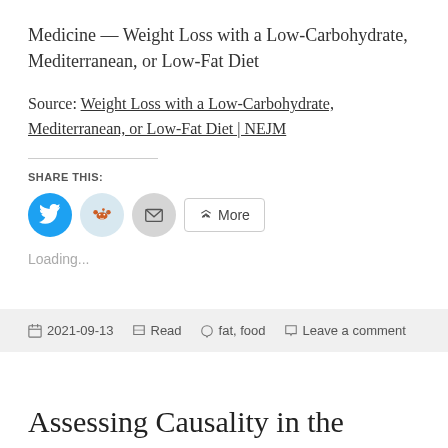Medicine — Weight Loss with a Low-Carbohydrate, Mediterranean, or Low-Fat Diet
Source: Weight Loss with a Low-Carbohydrate, Mediterranean, or Low-Fat Diet | NEJM
SHARE THIS:
[Figure (other): Social share buttons: Twitter (blue circle), Reddit (light blue circle), Email (grey circle), and a More button]
Loading...
2021-09-13  Read  fat, food  Leave a comment
Assessing Causality in the